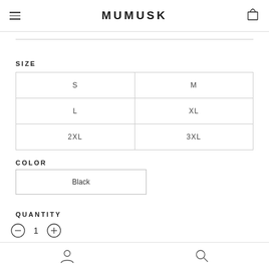MUMUSK
SIZE
| S | M |
| L | XL |
| 2XL | 3XL |
COLOR
Black
QUANTITY
1